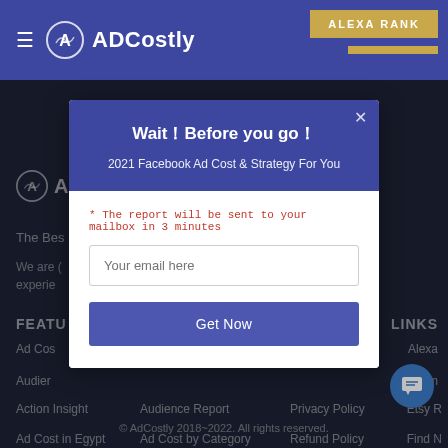ADCostly — ALEXA RANK
[Figure (screenshot): ADCostly website background with logo, tagline, features list, and footer links on dark navy background]
Wait！Before you go！
2021 Facebook Ad Cost & Strategy For You
* The report will be sent to your mailbox in 3 minutes
Your email here
Get Now
© AdCostly 2018~2022. All rights reserved.